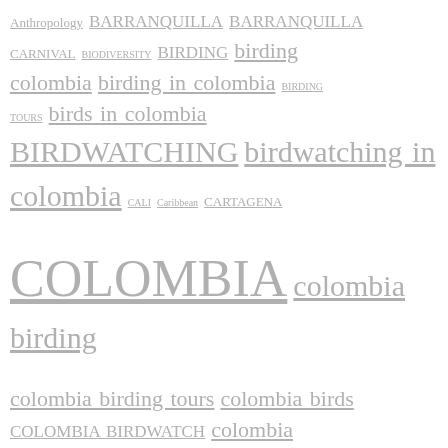Anthropology BARRANQUILLA BARRANQUILLA CARNIVAL BIODIVERSITY BIRDING birding colombia birding in colombia BIRDING TOURS birds in colombia BIRDWATCHING birdwatching in colombia CALI Caribbean CARTAGENA COLOMBIA colombia birding colombia birding tours colombia birds COLOMBIA BIRDWATCH colombia birdwatching colombia bird watching COLOMBIA PHOTO EXPEDITION COLOMBIA PHOTO TOURS Ethnomusicology KIKE CALVO